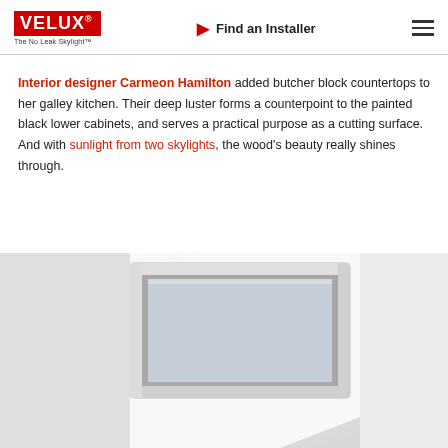VELUX · The No Leak Skylight™ | Find an Installer
Interior designer Carmeon Hamilton added butcher block countertops to her galley kitchen. Their deep luster forms a counterpoint to the painted black lower cabinets, and serves a practical purpose as a cutting surface. And with sunlight from two skylights, the wood's beauty really shines through.
[Figure (photo): Close-up photo of a white VELUX skylight frame installed in a white ceiling, viewed from below at an angle, showing the clean aluminum frame and glass panel against a bright white surface.]